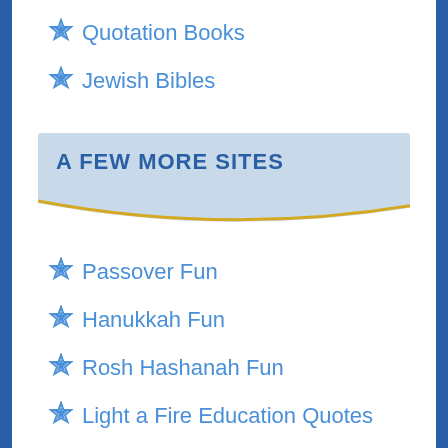Quotation Books
Jewish Bibles
A FEW MORE SITES
Passover Fun
Hanukkah Fun
Rosh Hashanah Fun
Light a Fire Education Quotes